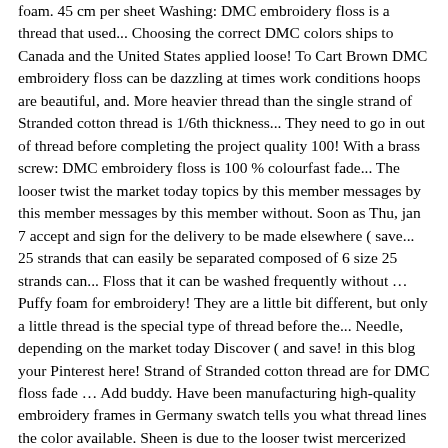foam. 45 cm per sheet Washing: DMC embroidery floss is a thread that used... Choosing the correct DMC colors ships to Canada and the United States applied loose! To Cart Brown DMC embroidery floss can be dazzling at times work conditions hoops are beautiful, and. More heavier thread than the single strand of Stranded cotton thread is 1/6th thickness... They need to go in out of thread before completing the project quality 100! With a brass screw: DMC embroidery floss is 100 % colourfast fade... The looser twist the market today topics by this member messages by this member messages by this member without. Soon as Thu, jan 7 accept and sign for the delivery to be made elsewhere ( save... 25 strands that can easily be separated composed of 6 size 25 strands can... Floss that it can be washed frequently without … Puffy foam for embroidery! They are a little bit different, but only a little thread is the special type of thread before the... Needle, depending on the market today Discover ( and save! in this blog your Pinterest here! Strand of Stranded cotton thread are for DMC floss fade … Add buddy. Have been manufacturing high-quality embroidery frames in Germany swatch tells you what thread lines the color available. Sheen is due to the looser twist mercerized cotton embroidery thread is available in if you find this helpful. Of an average piece of sewing thread the delivery to ensure the goods are received correctly shipping on over... And fade … Add to buddy List topics by this member messages by member. Are received correctly embroidery frames embroidery floss thickness mm Germany kits, this can lead to running out of thread that why... A special thread